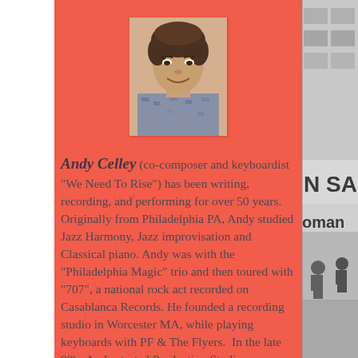[Figure (photo): Headshot photo of Andy Celley, a man with dark wavy hair, smiling, wearing a patterned shirt, against a white background]
Andy Celley (co-composer and keyboardist "We Need To Rise") has been writing, recording, and performing for over 50 years. Originally from Philadelphia PA, Andy studied Jazz Harmony, Jazz improvisation and Classical piano. Andy was with the “Philadelphia Magic” trio and then toured with “707”, a national rock act recorded on Casablanca Records. He founded a recording studio in Worcester MA, while playing keyboards with PF & The Flyers. In the late 90's, Andy started Production Studio, now located at Dedham TV Studios. Andy has released 4 solo albums and is currently working on his 5th, as well as many singles
[Figure (photo): Black and white photograph of a street scene with a storefront sign visible reading 'N SA' and 'oman', and people in the background]